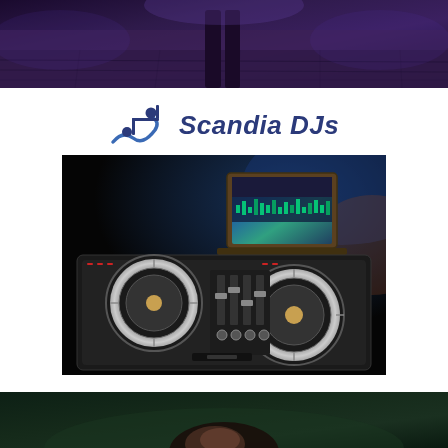[Figure (photo): Top portion of a dance floor or event venue photo, dark wood floor with purple/blue ambient lighting, showing lower legs of a person]
[Figure (logo): Scandia DJs logo with a blue music note swirl icon on the left and bold italic dark blue text 'Scandia DJs' on the right]
[Figure (photo): DJ controller/turntable equipment in a dark setting with a laptop open in the background showing DJ software, illuminated with blue and orange ambient light]
[Figure (photo): Bottom partial photo showing the top of a person's head, dark background with green tones]